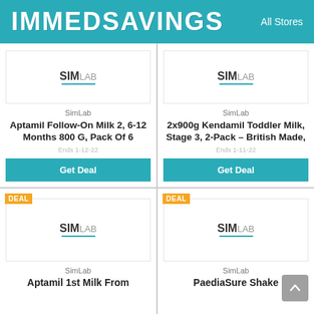IMMEDSAVINGS   All Stores
[Figure (logo): SimLab logo with teal underline in card 1]
SimLab
Aptamil Follow-On Milk 2, 6-12 Months 800 G, Pack Of 6
Ends 1-12-22
Get Deal
[Figure (logo): SimLab logo with teal underline in card 2]
SimLab
2x900g Kendamil Toddler Milk, Stage 3, 2-Pack – British Made,
Ends 1-11-22
Get Deal
[Figure (logo): SimLab logo with teal underline in card 3, DEAL badge]
SimLab
Aptamil 1st Milk From
[Figure (logo): SimLab logo with teal underline in card 4, DEAL badge]
SimLab
PaediaSure Shake